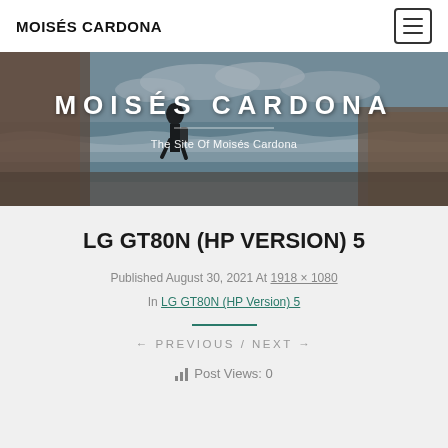MOISÉS CARDONA
[Figure (photo): Hero banner with coastal scene, person walking, stone walls, ocean waves in background. Text overlay: MOISÉS CARDONA / The Site Of Moisés Cardona]
LG GT80N (HP VERSION) 5
Published August 30, 2021 At 1918 × 1080 In LG GT80N (HP Version) 5
← PREVIOUS / NEXT →
Post Views: 0